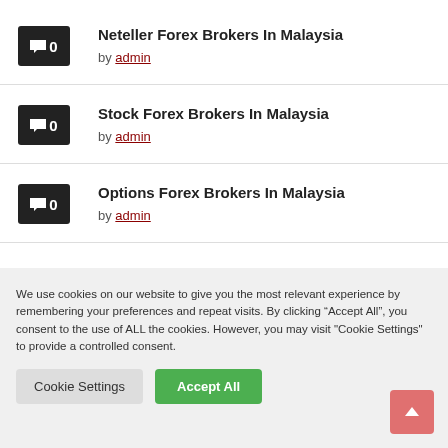Neteller Forex Brokers In Malaysia by admin
Stock Forex Brokers In Malaysia by admin
Options Forex Brokers In Malaysia by admin
We use cookies on our website to give you the most relevant experience by remembering your preferences and repeat visits. By clicking “Accept All”, you consent to the use of ALL the cookies. However, you may visit "Cookie Settings" to provide a controlled consent.